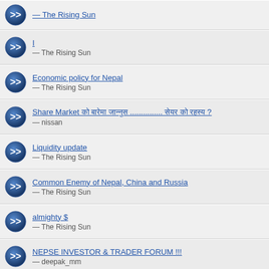I — The Rising Sun
Economic policy for Nepal — The Rising Sun
Share Market को बारेमा जान्नुस ............... सेयर को रहस्य ? — nissan
Liquidity update — The Rising Sun
Common Enemy of Nepal, China and Russia — The Rising Sun
almighty $ — The Rising Sun
NEPSE INVESTOR & TRADER FORUM !!! — deepak_mm
SHIVM — CHUTIYA
NEPSE TO HIT 1000/- mark in coming days !! — deepak_mm